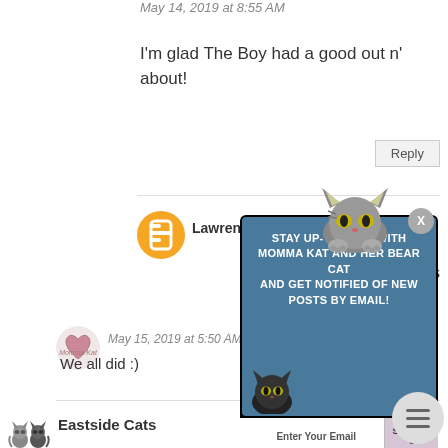May 14, 2019 at 8:55 AM
I'm glad The Boy had a good out n' about!
Reply
LawrenceS
[Figure (screenshot): Email subscription popup overlay with dark background and blue panel reading STAY UP-TO-DATE WITH MOMMA KAT AND HER BEAR CAT AND GET NOTIFIED OF NEW POSTS BY EMAIL!, with Enter Your Email input and Subscribe button, cat mascot illustrations]
ly the cats
May 15, 2019 at 5:50 AM
We all did :)
Eastside Cats